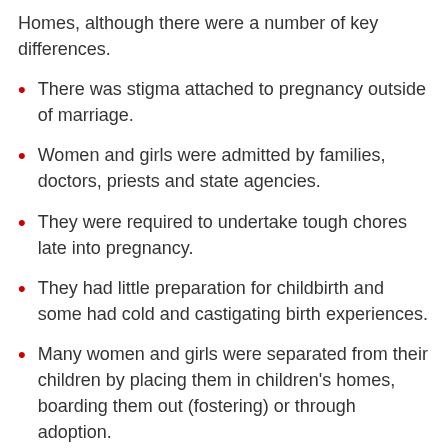Homes, although there were a number of key differences.
There was stigma attached to pregnancy outside of marriage.
Women and girls were admitted by families, doctors, priests and state agencies.
They were required to undertake tough chores late into pregnancy.
They had little preparation for childbirth and some had cold and castigating birth experiences.
Many women and girls were separated from their children by placing them in children's homes, boarding them out (fostering) or through adoption.
There was also the issue of the cross-border movement of women and children into and out of